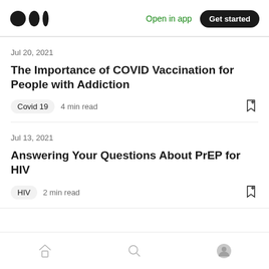Medium — Open in app | Get started
Jul 20, 2021
The Importance of COVID Vaccination for People with Addiction
Covid 19  4 min read
Jul 13, 2021
Answering Your Questions About PrEP for HIV
HIV  2 min read
Home | Search | Profile